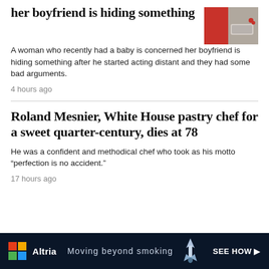her boyfriend is hiding something
A woman who recently had a baby is concerned her boyfriend is hiding something after he started acting distant and they had some bad arguments.
4 hours ago
Roland Mesnier, White House pastry chef for a sweet quarter-century, dies at 78
He was a confident and methodical chef who took as his motto “perfection is no accident.”
17 hours ago
[Figure (infographic): Altria advertisement banner with logo, text 'Moving beyond smoking' and 'SEE HOW' call to action on dark navy background]